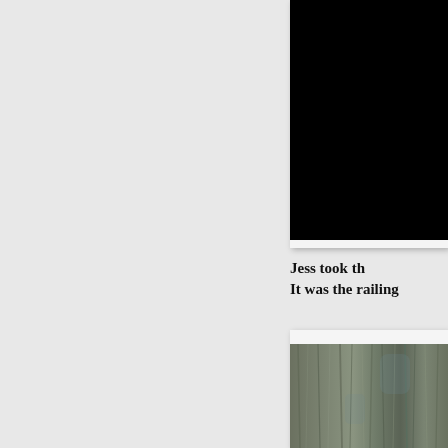[Figure (photo): Black rectangular photo area — upper right, content appears fully black/dark]
Jess took th
It was the railing
[Figure (photo): Photograph of weathered wood grain texture, grey-brown tones — lower right]